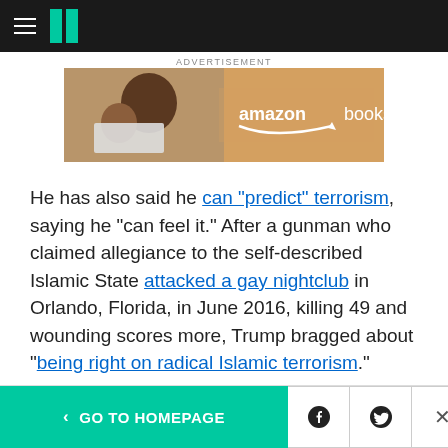HuffPost navigation bar
ADVERTISEMENT
[Figure (photo): Amazon Books advertisement banner showing people reading]
He has also said he can "predict" terrorism, saying he "can feel it." After a gunman who claimed allegiance to the self-described Islamic State attacked a gay nightclub in Orlando, Florida, in June 2016, killing 49 and wounding scores more, Trump bragged about "being right on radical Islamic terrorism."
Based on his actions, it appears Trump's claim
< GO TO HOMEPAGE